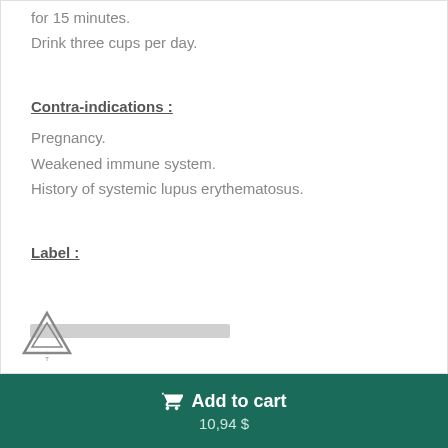for 15 minutes.
Drink three cups per day.
Contra-indications :
Pregnancy.
Weakened immune system.
History of systemic lupus erythematosus.
Label :
[Figure (logo): Brand logo with triangular mountain-like icon and text below]
Add to cart
10,94 $